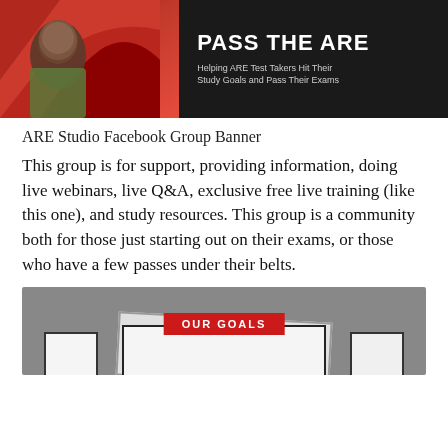[Figure (illustration): ARE Studio Facebook Group Banner with person image on left with red brushstroke background, and text PASS THE ARE on right with subtitle Helping ARE Test Takers Hit Their Study Goals and Pass Their Exams on dark background]
ARE Studio Facebook Group Banner
This group is for support, providing information, doing live webinars, live Q&A, exclusive free live training (like this one), and study resources. This group is a community both for those just starting out on their exams, or those who have a few passes under their belts.
[Figure (illustration): Gray banner graphic with OUR GOALS label in red, showing overlapping white card frames on gray background]